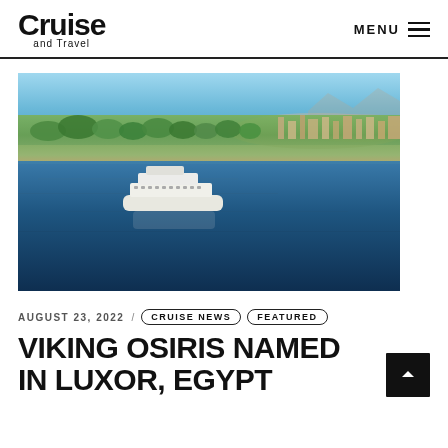Cruise and Travel / MENU
[Figure (photo): Aerial view of a white cruise ship on the Nile River with a green-lined riverbank and city in the background under a blue sky.]
AUGUST 23, 2022 / CRUISE NEWS / FEATURED
VIKING OSIRIS NAMED IN LUXOR, EGYPT